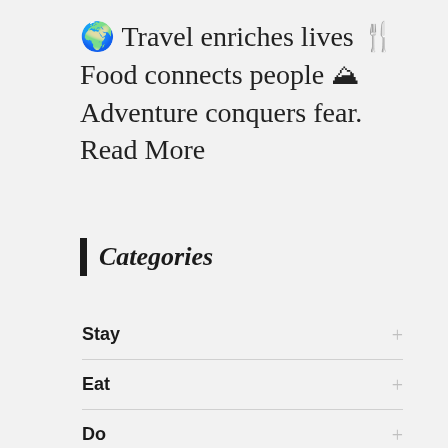🌍 Travel enriches lives 🍴 Food connects people ⛰ Adventure conquers fear. Read More
Categories
Stay
Eat
Do